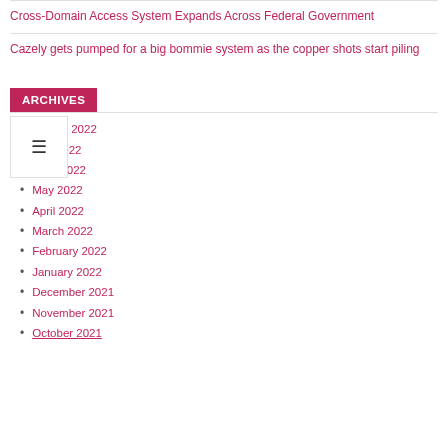Cross-Domain Access System Expands Across Federal Government
Cazely gets pumped for a big bommie system as the copper shots start piling
ARCHIVES
August 2022
July 2022
June 2022
May 2022
April 2022
March 2022
February 2022
January 2022
December 2021
November 2021
October 2021